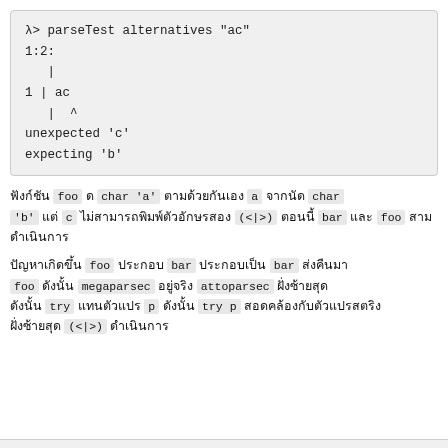λ> parseTest alternatives "ac"
1:2:
   |
1 | ac
   |  ^
unexpected 'c'
expecting 'b'
ฟังก์ชัน foo ด char 'a' ตามด้วยกันเอง a จากนัด char 'b' แต่ c ไม่สามารถพิมพ์ตัวอักษรสอง (<|>) ตอนนี้ bar และ foo สาม ดำเนินการ
ปัญหาเกิดขึ้น foo ประกอบ bar ประกอบเป็น bar ส่งคืนมา foo ดังนั้น megaparsec อยู่จริง attoparsec ฝั่งซ้ายสุด ดังนั้น try แทนตัวแปร p ดังนั้น try p สอดคล้องกับตัวแปรสตริง (<|>) ดำเนินการ